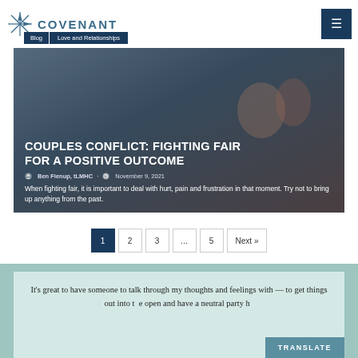COVENANT
Blog | Love and Relationships
COUPLES CONFLICT: FIGHTING FAIR FOR A POSITIVE OUTCOME
Ben Fienup, tLMHC · November 9, 2021
When fighting fair, it is important to deal with hurt, pain and frustration in that moment. Try not to bring up anything from the past.
1 2 3 … 5 Next »
It's great to have someone to talk through my thoughts and feelings with — to get things out into t... and have a neutral party h...
TRANSLATE